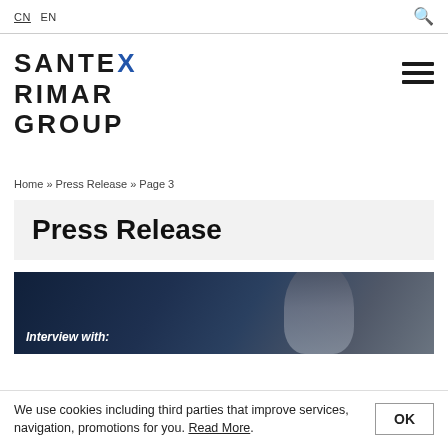CN  EN
SANTEX RIMAR GROUP
Home » Press Release » Page 3
Press Release
[Figure (photo): Article card with dark industrial background and a bald person visible, with text overlay 'Interview with:']
We use cookies including third parties that improve services, navigation, promotions for you. Read More. OK